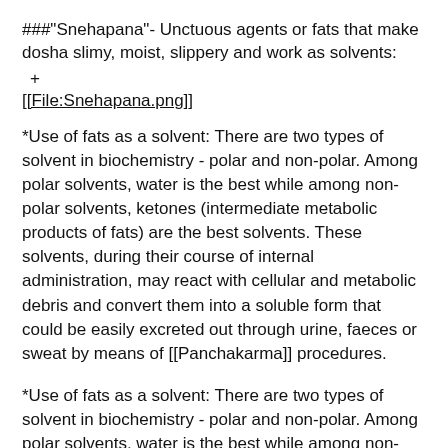###"Snehapana"- Unctuous agents or fats that make dosha slimy, moist, slippery and work as solvents:
+
[[File:Snehapana.png]]
*Use of fats as a solvent: There are two types of solvent in biochemistry - polar and non-polar. Among polar solvents, water is the best while among non-polar solvents, ketones (intermediate metabolic products of fats) are the best solvents. These solvents, during their course of internal administration, may react with cellular and metabolic debris and convert them into a soluble form that could be easily excreted out through urine, faeces or sweat by means of [[Panchakarma]] procedures.
*Use of fats as a solvent: There are two types of solvent in biochemistry - polar and non-polar. Among polar solvents, water is the best while among non-polar solvents, ketones (intermediate metabolic products of fats) are the best solvents. These solvents, during their course of internal